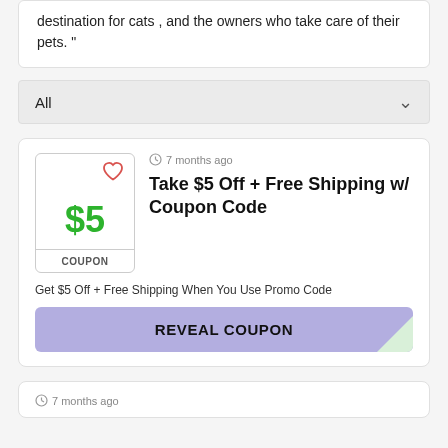destination for cats , and the owners who take care of their pets."
All
7 months ago
Take $5 Off + Free Shipping w/ Coupon Code
$5
COUPON
Get $5 Off + Free Shipping When You Use Promo Code
REVEAL COUPON
7 months ago